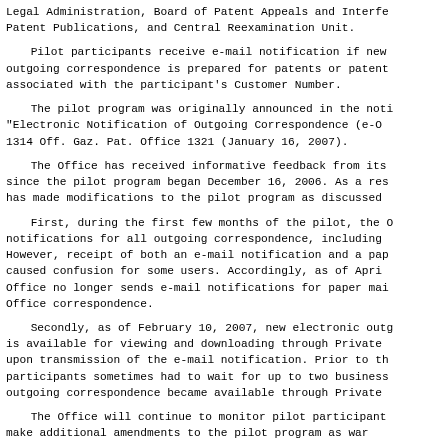Legal Administration, Board of Patent Appeals and Interferences, Patent Publications, and Central Reexamination Unit.
Pilot participants receive e-mail notification if new outgoing correspondence is prepared for patents or patent applications associated with the participant's Customer Number.
The pilot program was originally announced in the notice "Electronic Notification of Outgoing Correspondence (e-Office Action)," 1314 Off. Gaz. Pat. Office 1321 (January 16, 2007).
The Office has received informative feedback from its participants since the pilot program began December 16, 2006. As a result, the Office has made modifications to the pilot program as discussed below.
First, during the first few months of the pilot, the Office sent e-mail notifications for all outgoing correspondence, including paper mailings. However, receipt of both an e-mail notification and a paper mailing caused confusion for some users. Accordingly, as of April 2007, the Office no longer sends e-mail notifications for paper mailings of Office correspondence.
Secondly, as of February 10, 2007, new electronic outgoing correspondence is available for viewing and downloading through Private PAIR immediately upon transmission of the e-mail notification. Prior to this change, participants sometimes had to wait for up to two business days before outgoing correspondence became available through Private PAIR.
The Office will continue to monitor pilot participant feedback and make additional amendments to the pilot program as warranted.